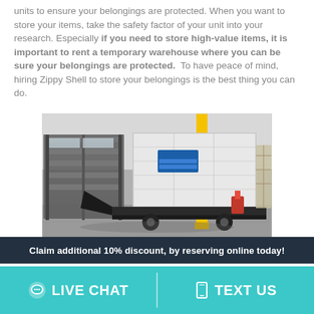units to ensure your belongings are protected. When you want to store your items, take the safety factor of your unit into your research. Especially if you need to store high-value items, it is important to rent a temporary warehouse where you can be sure your belongings are protected. To have peace of mind, hiring Zippy Shell to store your belongings is the best thing you can do.
[Figure (photo): Photo of a Zippy Shell portable storage unit on a trailer inside a warehouse, with metal racks and pallets visible in the background.]
Claim additional 10% discount, by reserving online today!
LIVE CHAT   TEXT US